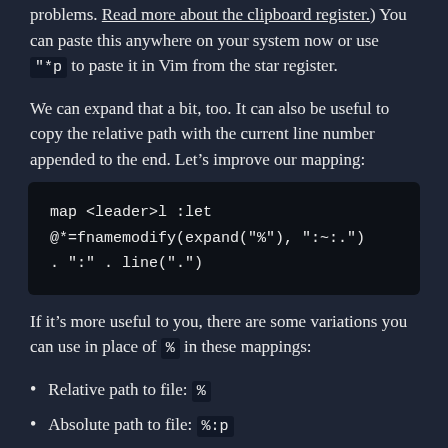problems. Read more about the clipboard register.) You can paste this anywhere on your system now or use "*p to paste it in Vim from the star register.
We can expand that a bit, too. It can also be useful to copy the relative path with the current line number appended to the end. Let’s improve our mapping:
map <leader>l :let
@*=fnamemodify(expand("%"), ":~:.") . ":" . line(".")<CR>
If it’s more useful to you, there are some variations you can use in place of % in these mappings:
Relative path to file: %
Absolute path to file: %:p
Filename only: %:t